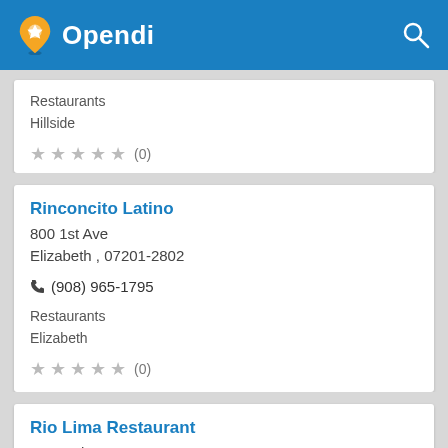Opendi
Restaurants
Hillside
★★★★★ (0)
Rinconcito Latino
800 1st Ave
Elizabeth , 07201-2802
(908) 965-1795
Restaurants
Elizabeth
★★★★★ (0)
Rio Lima Restaurant
246 2nd St
Elizabeth , 07201
(...)...